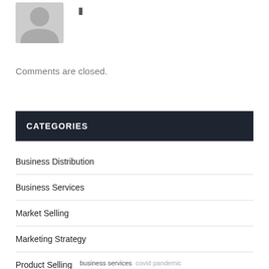[Figure (illustration): Gray placeholder avatar/user icon silhouette]
Comments are closed.
CATEGORIES
Business Distribution
Business Services
Market Selling
Marketing Strategy
Product Selling
business services  covid pandemic